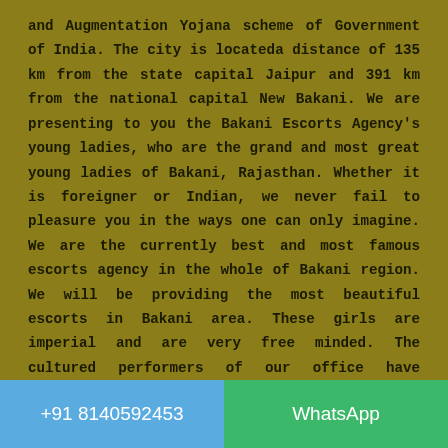and Augmentation Yojana scheme of Government of India. The city is locateda distance of 135 km from the state capital Jaipur and 391 km from the national capital New Bakani. We are presenting to you the Bakani Escorts Agency's young ladies, who are the grand and most great young ladies of Bakani, Rajasthan. Whether it is foreigner or Indian, we never fail to pleasure you in the ways one can only imagine. We are the currently best and most famous escorts agency in the whole of Bakani region. We will be providing the most beautiful escorts in Bakani area. These girls are imperial and are very free minded. The cultured performers of our office have expanded eminent name and noticeable quality in the matter of satisfaction giving. What makes the young women all the more troublesome is their less difficult and considerably less requesting accessibility?
+91 8140592453  WhatsApp